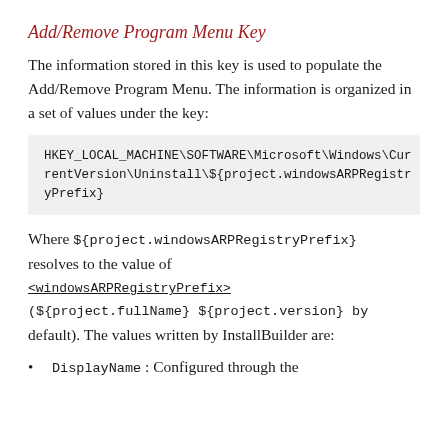Add/Remove Program Menu Key
The information stored in this key is used to populate the Add/Remove Program Menu. The information is organized in a set of values under the key:
HKEY_LOCAL_MACHINE\SOFTWARE\Microsoft\Windows\CurrentVersion\Uninstall\${project.windowsARPRegistryPrefix}
Where ${project.windowsARPRegistryPrefix} resolves to the value of <windowsARPRegistryPrefix> (${project.fullName} ${project.version} by default). The values written by InstallBuilder are:
DisplayName : Configured through the